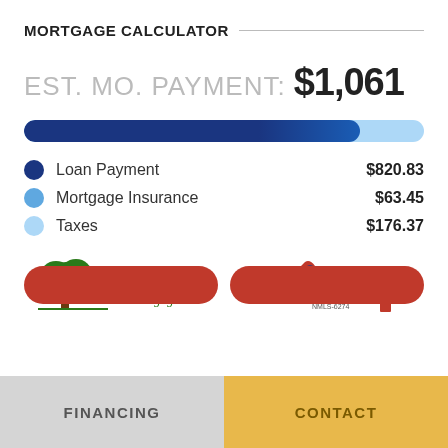MORTGAGE CALCULATOR
EST. MO. PAYMENT: $1,061
[Figure (other): Horizontal progress bar showing breakdown of mortgage payment: dark blue (Loan Payment ~77%), medium blue (Mortgage Insurance ~6%), light blue (Taxes ~17%)]
Loan Payment    $820.83
Mortgage Insurance    $63.45
Taxes    $176.37
[Figure (logo): Arbor Bank Mortgage logo with green tree illustration and green text]
[Figure (logo): Peoples Mortgage Company logo with red/blue swoosh and blue text, NMLS-6274]
FINANCING    CONTACT